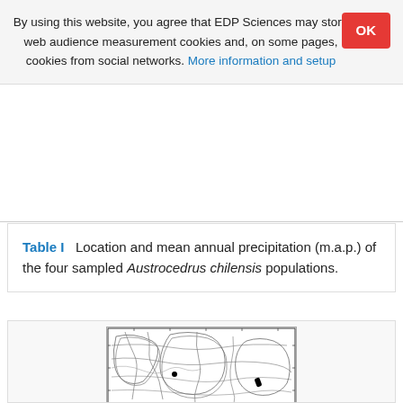By using this website, you agree that EDP Sciences may store web audience measurement cookies and, on some pages, cookies from social networks. More information and setup
Table I   Location and mean annual precipitation (m.a.p.) of the four sampled Austrocedrus chilensis populations.
[Figure (map): Topographic/contour map showing the locations of sampled Austrocedrus chilensis populations, with rivers, elevation contours, and black markers indicating sampling sites.]